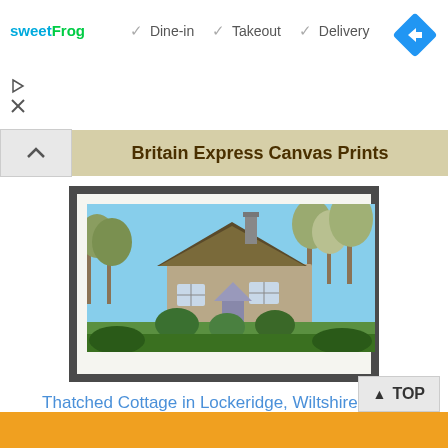[Figure (logo): sweetFrog logo in blue and green text]
✓ Dine-in  ✓ Takeout  ✓ Delivery
[Figure (other): Blue diamond navigation/directions icon with right-arrow]
[Figure (other): Play button icon]
[Figure (other): Close/X button icon]
Britain Express Canvas Prints
[Figure (photo): Framed photograph of a thatched cottage in Lockeridge, Wiltshire surrounded by green garden and trees under blue sky, displayed in a dark grey frame with white mat]
Thatched Cottage in Lockeridge, Wiltshire Prints
[Figure (other): TOP button with upward arrow]
[Figure (other): Orange call-to-action button at bottom]